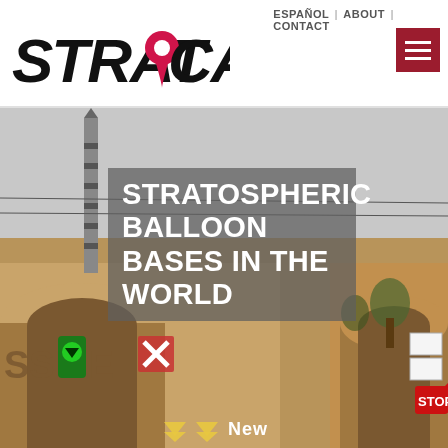ESPAÑOL | ABOUT | CONTACT
[Figure (logo): STRATOCAT logo with pink location pin replacing the letter O between STRAT and CAT, black bold italic lettering]
[Figure (photo): Outdoor scene showing a building entrance/gate with a tall obelisk or missile-like structure. Signs visible including partial text SSILE. Traffic signals, trees, STOP sign at bottom right, overcast sky.]
STRATOSPHERIC BALLOON BASES IN THE WORLD
New